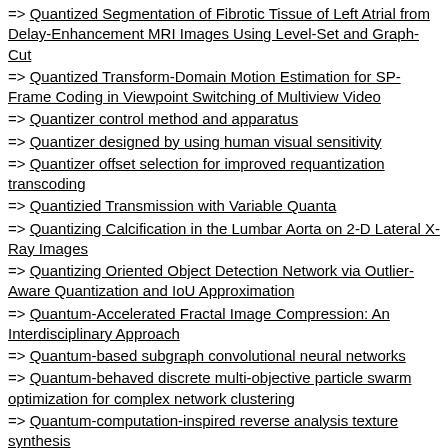=> Quantized Segmentation of Fibrotic Tissue of Left Atrial from Delay-Enhancement MRI Images Using Level-Set and Graph-Cut
=> Quantized Transform-Domain Motion Estimation for SP-Frame Coding in Viewpoint Switching of Multiview Video
=> Quantizer control method and apparatus
=> Quantizer designed by using human visual sensitivity
=> Quantizer offset selection for improved requantization transcoding
=> Quantizied Transmission with Variable Quanta
=> Quantizing Calcification in the Lumbar Aorta on 2-D Lateral X-Ray Images
=> Quantizing Oriented Object Detection Network via Outlier-Aware Quantization and IoU Approximation
=> Quantum-Accelerated Fractal Image Compression: An Interdisciplinary Approach
=> Quantum-based subgraph convolutional neural networks
=> Quantum-behaved discrete multi-objective particle swarm optimization for complex network clustering
=> Quantum-computation-inspired reverse analysis texture synthesis
=> Quantum-Inspired Genetic Algorithm for Multi-source Affine Image Registration, A
=> Quantum-inspired immune clone algorithm and multiscale Bandelet based image representation